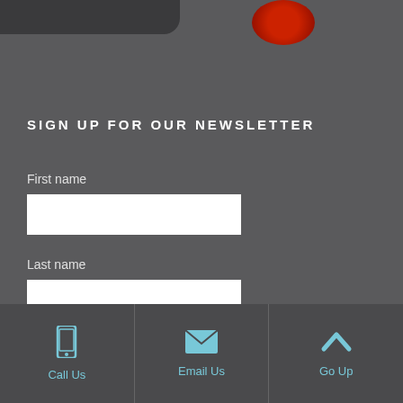[Figure (photo): Partial view of dark bar and red object at top of page]
SIGN UP FOR OUR NEWSLETTER
First name
Last name
Email *
Call Us | Email Us | Go Up